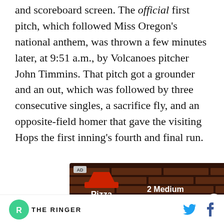and scoreboard screen. The official first pitch, which followed Miss Oregon's national anthem, was thrown a few minutes later, at 9:51 a.m., by Volcanoes pitcher John Timmins. That pitch got a grounder and an out, which was followed by three consecutive singles, a sacrifice fly, and an opposite-field homer that gave the visiting Hops the first inning's fourth and final run.
[Figure (photo): Pizza Hut advertisement showing logo and offer: 2 Medium 1-Topping Pizzas $6.99 Each Carryout Only]
THE RINGER